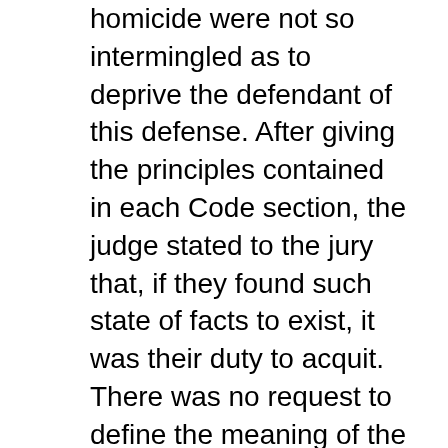homicide were not so intermingled as to deprive the defendant of this defense. After giving the principles contained in each Code section, the judge stated to the jury that, if they found such state of facts to exist, it was their duty to acquit. There was no request to define the meaning of the word "felony", and this failure would not be reversible error. Worley v. State, 136 Ga. 231 (3) (71 S. E. 153). While the provisions of 26-1013, in regard to justifiable homicide in repelling a forcible attack and invasion on the property of another, were not applicable to the facts of the case, the inclusion of such charge was not harmful error. Rumsey v. State, 126 Ga